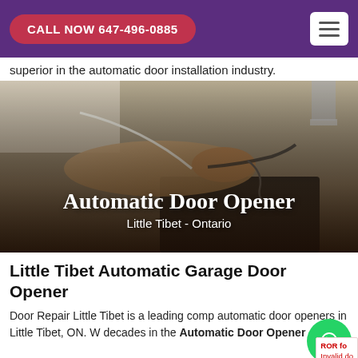CALL NOW 647-496-0885
superior in the automatic door installation industry.
[Figure (photo): A person's hand working on automatic garage door opener wiring and components, with overlay text 'Automatic Door Opener' and subtitle 'Little Tibet - Ontario']
Little Tibet Automatic Garage Door Opener
Door Repair Little Tibet is a leading comp automatic door openers in Little Tibet, ON. W decades in the Automatic Door Opener